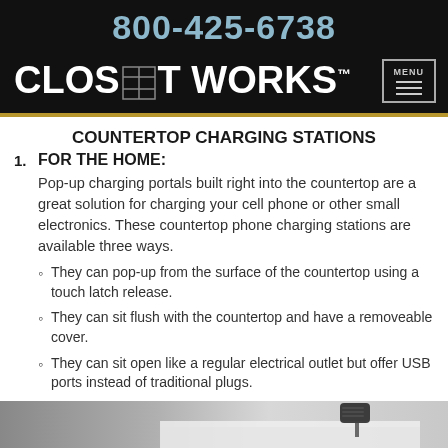800-425-6738
[Figure (logo): Closet Works logo with menu button on black background]
COUNTERTOP CHARGING STATIONS
1. FOR THE HOME: Pop-up charging portals built right into the countertop are a great solution for charging your cell phone or other small electronics. These countertop phone charging stations are available three ways.
They can pop-up from the surface of the countertop using a touch latch release.
They can sit flush with the countertop and have a removeable cover.
They can sit open like a regular electrical outlet but offer USB ports instead of traditional plugs.
[Figure (photo): Photo of a countertop charging station]